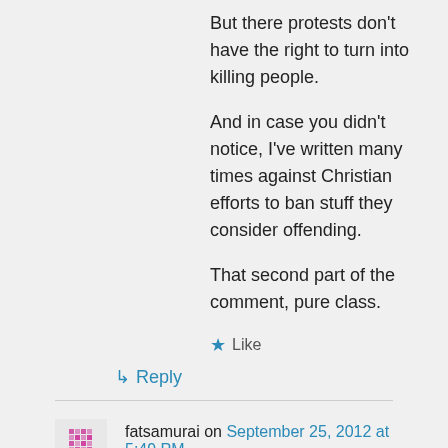But there protests don't have the right to turn into killing people.
And in case you didn't notice, I've written many times against Christian efforts to ban stuff they consider offending.
That second part of the comment, pure class.
★ Like
↳ Reply
fatsamurai on September 25, 2012 at 5:49 PM
Awwww,